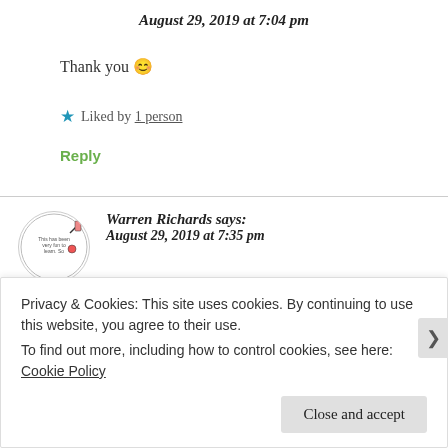August 29, 2019 at 7:04 pm
Thank you 😊
★ Liked by 1 person
Reply
Warren Richards says: August 29, 2019 at 7:35 pm
Privacy & Cookies: This site uses cookies. By continuing to use this website, you agree to their use. To find out more, including how to control cookies, see here: Cookie Policy
Close and accept